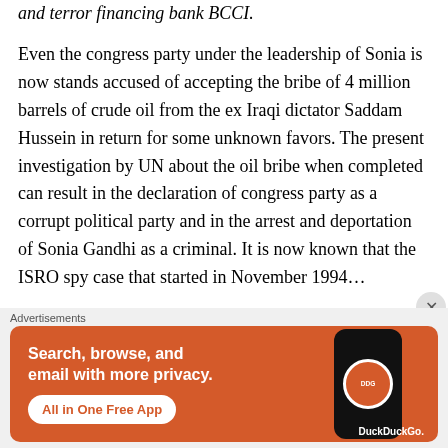and terror financing bank BCCI.
Even the congress party under the leadership of Sonia is now stands accused of accepting the bribe of 4 million barrels of crude oil from the ex Iraqi dictator Saddam Hussein in return for some unknown favors. The present investigation by UN about the oil bribe when completed can result in the declaration of congress party as a corrupt political party and in the arrest and deportation of Sonia Gandhi as a criminal. It is now known that the ISRO spy case that started in November 1994...
Advertisements
[Figure (illustration): DuckDuckGo advertisement banner with orange background. Text reads: Search, browse, and email with more privacy. All in One Free App. Shows a smartphone with the DuckDuckGo logo.]